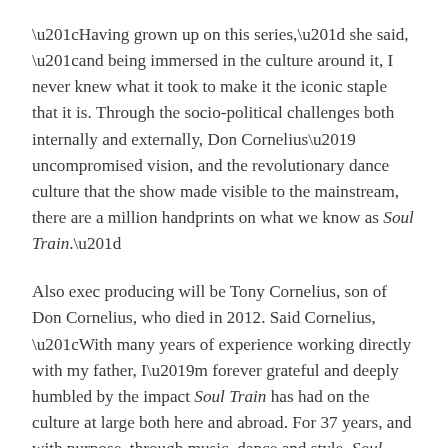“Having grown up on this series,” she said, “and being immersed in the culture around it, I never knew what it took to make it the iconic staple that it is. Through the socio-political challenges both internally and externally, Don Cornelius’ uncompromised vision, and the revolutionary dance culture that the show made visible to the mainstream, there are a million handprints on what we know as Soul Train.”
Also exec producing will be Tony Cornelius, son of Don Cornelius, who died in 2012. Said Cornelius, “With many years of experience working directly with my father, I’m forever grateful and deeply humbled by the impact Soul Train has had on the culture at large both here and abroad. For 37 years, and with purpose, through music, dance and style, Soul Train brought Love, Peace & Soul to a national audience.”